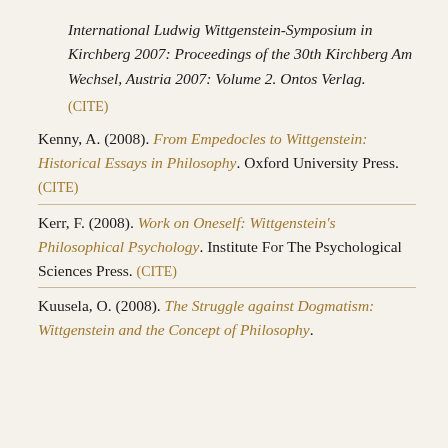International Ludwig Wittgenstein-Symposium in Kirchberg 2007: Proceedings of the 30th Kirchberg Am Wechsel, Austria 2007: Volume 2. Ontos Verlag.
(CITE)
Kenny, A. (2008). From Empedocles to Wittgenstein: Historical Essays in Philosophy. Oxford University Press. (CITE)
Kerr, F. (2008). Work on Oneself: Wittgenstein's Philosophical Psychology. Institute For The Psychological Sciences Press. (CITE)
Kuusela, O. (2008). The Struggle against Dogmatism: Wittgenstein and the Concept of Philosophy.